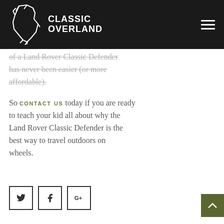CLASSIC OVERLAND
of a Land Rover Classic Defender has never been easier (or more affordable).
So contact us today if you are ready to teach your kid all about why the Land Rover Classic Defender is the best way to travel outdoors on wheels.
[Figure (other): Social media share buttons: Twitter, Facebook, Google+]
[Figure (other): Scroll to top button with upward chevron arrow]